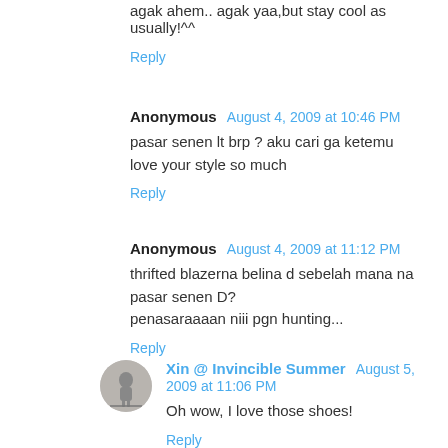agak ahem.. agak yaa,but stay cool as usually!^^
Reply
Anonymous  August 4, 2009 at 10:46 PM
pasar senen lt brp ? aku cari ga ketemu
love your style so much
Reply
Anonymous  August 4, 2009 at 11:12 PM
thrifted blazerna belina d sebelah mana na pasar senen D?
penasaraaaan niii pgn hunting...
Reply
Xin @ Invincible Summer  August 5, 2009 at 11:06 PM
Oh wow, I love those shoes!
Reply